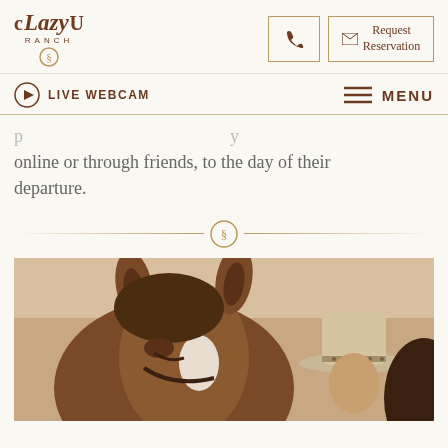C Lazy U Ranch - navigation header with logo, phone button, Request Reservation button, LIVE WEBCAM link, and MENU button
online or through friends, to the day of their departure.
[Figure (photo): Close-up photo of a horse's head from behind/above, showing ears and a white blaze on forehead, with a person in a cowboy hat visible in the background. Warm beige/tan tones.]